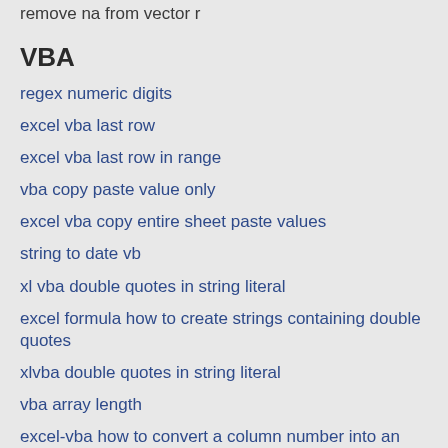remove na from vector r
VBA
regex numeric digits
excel vba last row
excel vba last row in range
vba copy paste value only
excel vba copy entire sheet paste values
string to date vb
xl vba double quotes in string literal
excel formula how to create strings containing double quotes
xlvba double quotes in string literal
vba array length
excel-vba how to convert a column number into an